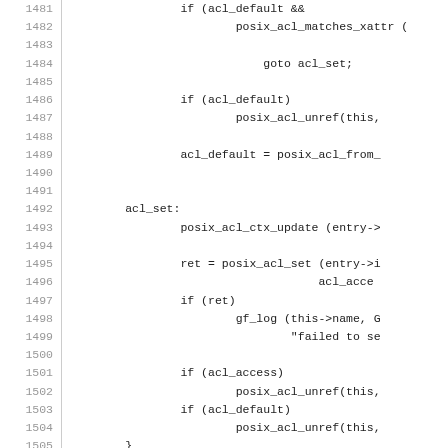Source code listing lines 1481-1510 showing C code with posix ACL operations, goto labels, and stack unwind.